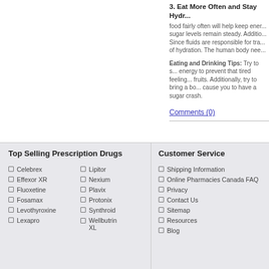3. Eat More Often and Stay Hydrated
food fairly often will help keep energy levels up and blood sugar levels remain steady. Additionally, staying hydrated is key. Since fluids are responsible for transporting nutrients, think of hydration. The human body needs...
Eating and Drinking Tips: Try to snack on foods that give you energy to prevent that tired feeling. Fresh vegetables and fruits. Additionally, try to bring a bottle of water. Avoid drinks that cause you to have a sugar crash.
Comments (0)
Top Selling Prescription Drugs
Celebrex
Effexor XR
Fluoxetine
Fosamax
Levothyroxine
Lexapro
Lipitor
Nexium
Plavix
Protonix
Synthroid
Wellbutrin XL
Customer Service
Shipping Information
Online Pharmacies Canada FAQ
Privacy
Contact Us
Sitemap
Resources
Blog